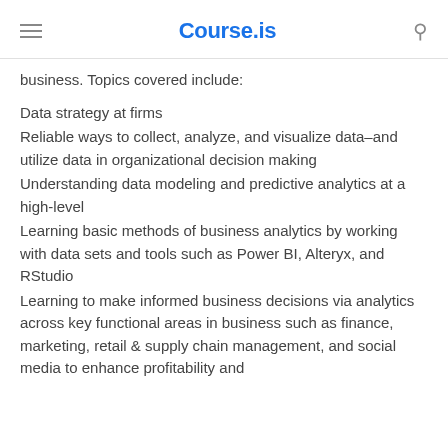Course.is
business. Topics covered include:
Data strategy at firms
Reliable ways to collect, analyze, and visualize data–and utilize data in organizational decision making
Understanding data modeling and predictive analytics at a high-level
Learning basic methods of business analytics by working with data sets and tools such as Power BI, Alteryx, and RStudio
Learning to make informed business decisions via analytics across key functional areas in business such as finance, marketing, retail & supply chain management, and social media to enhance profitability and